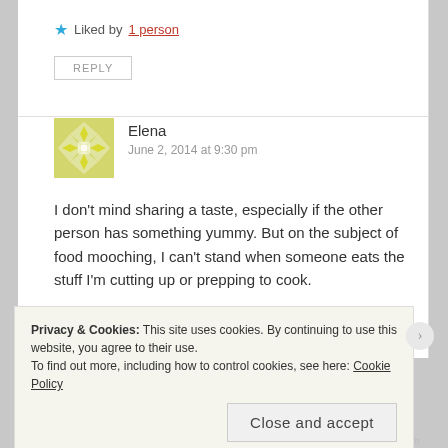★ Liked by 1 person
REPLY
Elena
June 2, 2014 at 9:30 pm
[Figure (illustration): Yellow-green geometric avatar icon with diamond/snowflake pattern]
I don't mind sharing a taste, especially if the other person has something yummy. But on the subject of food mooching, I can't stand when someone eats the stuff I'm cutting up or prepping to cook.
Privacy & Cookies: This site uses cookies. By continuing to use this website, you agree to their use.
To find out more, including how to control cookies, see here: Cookie Policy
Close and accept